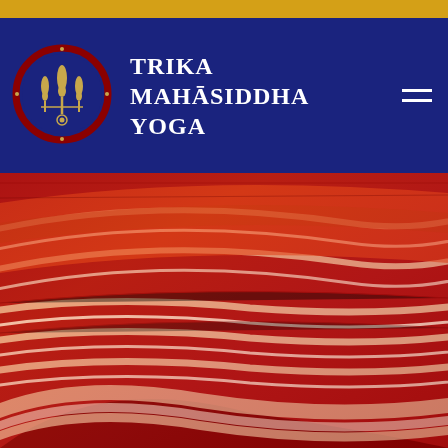[Figure (other): Gold decorative bar at top of page]
TRIKA MAHĀSIDDHA YOGA
[Figure (logo): Circular logo with dark red border, dark blue background, and golden trident/trishula symbols inside]
[Figure (photo): Close-up photograph of colorful woven textile with red, orange, and cream striped pattern, fabric folded in curves]